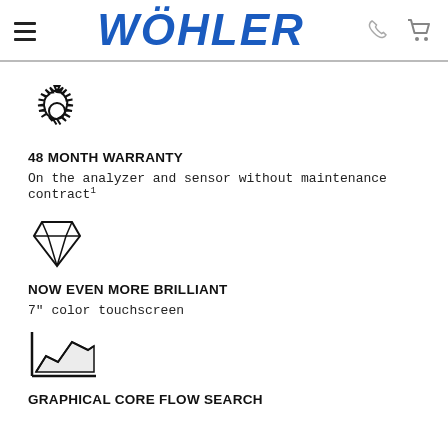WÖHLER
[Figure (illustration): Gear/cog wheel icon representing warranty]
48 MONTH WARRANTY
On the analyzer and sensor without maintenance contract¹
[Figure (illustration): Diamond gem icon representing brilliance]
NOW EVEN MORE BRILLIANT
7" color touchscreen
[Figure (illustration): Area/mountain chart icon representing graphical core flow search]
GRAPHICAL CORE FLOW SEARCH